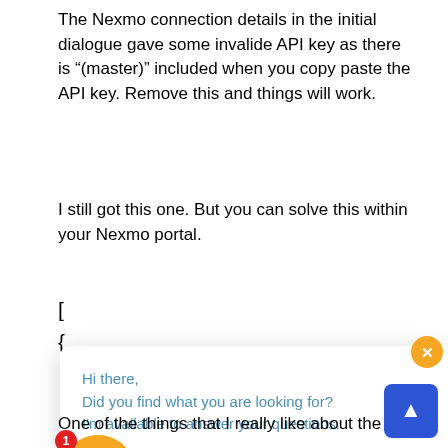The Nexmo connection details in the initial dialogue gave some invalide API key as there is “(master)” included when you copy paste the API key. Remove this and things will work.
I still got this one. But you can solve this within your Nexmo portal.
[
{
[Figure (screenshot): Chat popup widget with orange close button, message text 'Hi there, Did you find what you are looking for? I’m available to answer your questions.' in blue, avatar with orange circle and notification badge showing 1, and triangle arrow pointing to avatar.]
One of the things that I really like about the